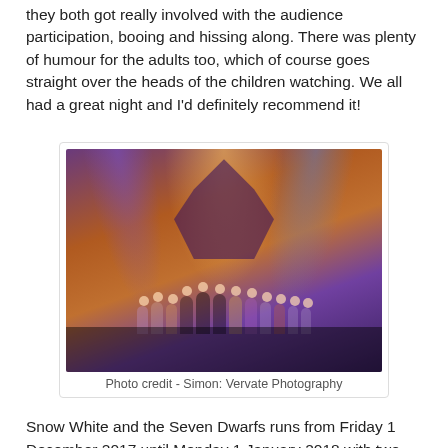they both got really involved with the audience participation, booing and hissing along. There was plenty of humour for the adults too, which of course goes straight over the heads of the children watching. We all had a great night and I'd definitely recommend it!
[Figure (photo): Stage performance photo showing performers in costume on a theatre stage with dramatic purple, blue and amber stage lighting and a gothic castle backdrop. Multiple performers in pantomime costumes are visible.]
Photo credit - Simon: Vervate Photography
Snow White and the Seven Dwarfs runs from Friday 1 December 2017 until Monday 1 January 2018 with two showings per day and three on Christmas Eve. To book tickets you can call the Box Office on 01903 206 206 or visit Worthing Theatres